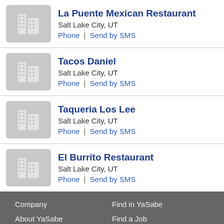La Puente Mexican Restaurant
Salt Lake City, UT
Phone | Send by SMS
Tacos Daniel
Salt Lake City, UT
Phone | Send by SMS
Taqueria Los Lee
Salt Lake City, UT
Phone | Send by SMS
El Burrito Restaurant
Salt Lake City, UT
Phone | Send by SMS
Company
About YaSabe
News
Contact Us
Terms of Service
FAQ

Find in YaSabe
Find a Job
Find a Business
Find a Car
Find a Coupon